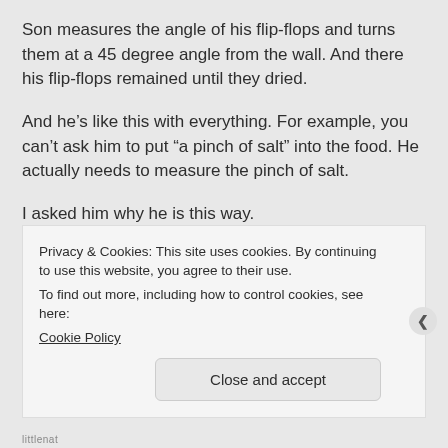Son measures the angle of his flip-flops and turns them at a 45 degree angle from the wall. And there his flip-flops remained until they dried.
And he’s like this with everything. For example, you can’t ask him to put “a pinch of salt” into the food. He actually needs to measure the pinch of salt.
I asked him why he is this way.
He said: You know I have an analytical, mathematical mind. I can only understand
Privacy & Cookies: This site uses cookies. By continuing to use this website, you agree to their use.
To find out more, including how to control cookies, see here:
Cookie Policy
Close and accept